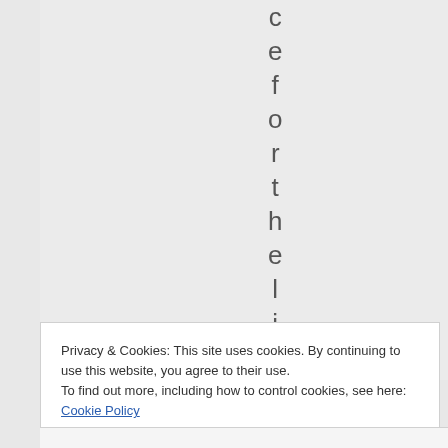c e f o r t h e l i f
Privacy & Cookies: This site uses cookies. By continuing to use this website, you agree to their use.
To find out more, including how to control cookies, see here: Cookie Policy
Close and accept